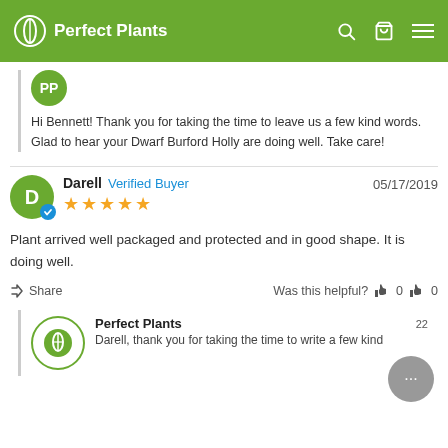Perfect Plants
Hi Bennett! Thank you for taking the time to leave us a few kind words. Glad to hear your Dwarf Burford Holly are doing well. Take care!
Darell   Verified Buyer   05/17/2019   ★★★★★
Plant arrived well packaged and protected and in good shape. It is doing well.
Share   Was this helpful?  👍 0  👎 0
Perfect Plants
Darell, thank you for taking the time to write a few kind